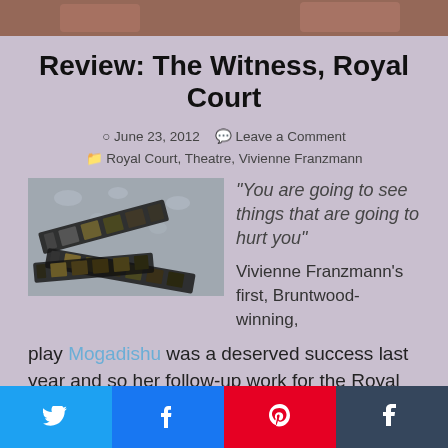[Figure (photo): Top cropped banner photo of people]
Review: The Witness, Royal Court
June 23, 2012   Leave a Comment   Royal Court, Theatre, Vivienne Franzmann
[Figure (photo): Film strips scattered on a wet surface]
“You are going to see things that are going to hurt you”  Vivienne Franzmann’s first, Bruntwood-winning, play Mogadishu was a deserved success last year and so her follow-up work for the Royal Court, The Witness, was something I was most